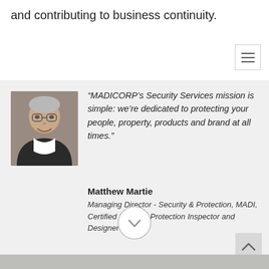and contributing to business continuity.
[Figure (other): Hamburger menu icon (three horizontal lines) inside a bordered square button]
“MADICORP’s Security Services mission is simple: we’re dedicated to protecting your people, property, products and brand at all times.”
Matthew Martie
Managing Director - Security & Protection, MADI, Certified Physical Protection Inspector and Designer
[Figure (other): Circular chevron/down-arrow scroll button]
[Figure (other): Back-to-top arrow button (caret up) in gray square]